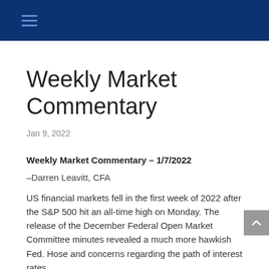Weekly Market Commentary
Jan 9, 2022
Weekly Market Commentary – 1/7/2022
–Darren Leavitt, CFA
US financial markets fell in the first week of 2022 after the S&P 500 hit an all-time high on Monday. The release of the December Federal Open Market Committee minutes revealed a much more hawkish Fed. Hose and concerns regarding the path of interest rates